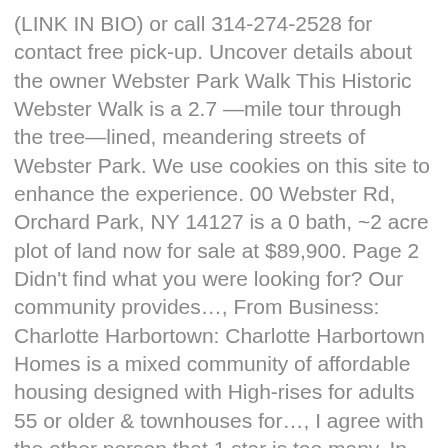(LINK IN BIO) or call 314-274-2528 for contact free pick-up. Uncover details about the owner Webster Park Walk This Historic Webster Walk is a 2.7 —mile tour through the tree—lined, meandering streets of Webster Park. We use cookies on this site to enhance the experience. 00 Webster Rd, Orchard Park, NY 14127 is a 0 bath, ~2 acre plot of land now for sale at $89,900. Page 2 Didn't find what you were looking for? Our community provides…, From Business: Charlotte Harbortown: Charlotte Harbortown Homes is a mixed community of affordable housing designed with High-rises for adults 55 or older & townhouses for…, I agree with the other person that 1 star is too many. In 1896, Webster Groves incorporated as a city and the next year it annexed Old Orchard. Boasting a gorgeous brick…. We are a family here at home, and love to laugh and learn together. 6283 Webster Road, Orchard Park, NY 14127 is a 5 bedroom, 1 bath single family home was sold for $147,101 by John Coles Jr. in the Howard Hanna Real Estate Services Orchard Park - E. Quaker Street real estate